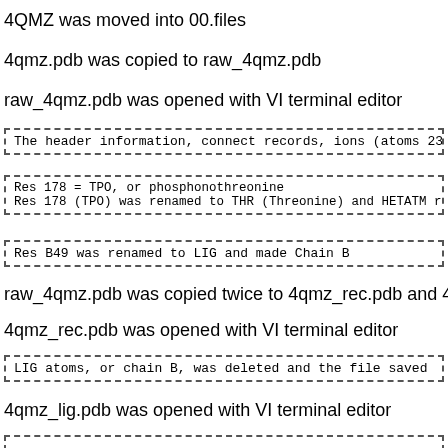4QMZ was moved into 00.files
4qmz.pdb was copied to raw_4qmz.pdb
raw_4qmz.pdb was opened with VI terminal editor
The header information, connect records, ions (atoms 2333 and 2334...
Res 178 = TPO, or phosphonothreonine
Res 178 (TPO) was renamed to THR (Threonine) and HETATM renamed to...
Res B49 was renamed to LIG and made Chain B
raw_4qmz.pdb was copied twice to 4qmz_rec.pdb and 4qmz_lig.pdb
4qmz_rec.pdb was opened with VI terminal editor
LIG atoms, or chain B, was deleted and the file saved
4qmz_lig.pdb was opened with VI terminal editor